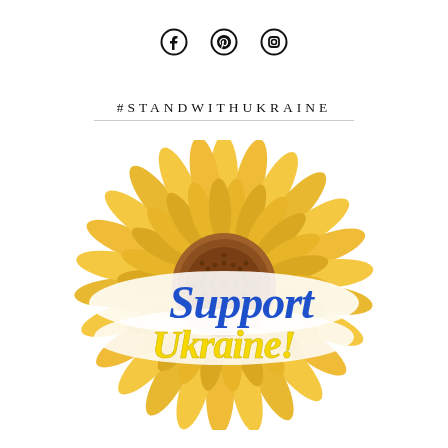[Figure (illustration): Three social media icons: Facebook, Pinterest, Instagram arranged horizontally at top center]
#STANDWITHUKRAINE
[Figure (illustration): Large yellow sunflower illustration centered on the page with a white banner across the middle containing the text 'Support Ukraine!' in blue and yellow decorative serif fonts]
Support Ukraine!